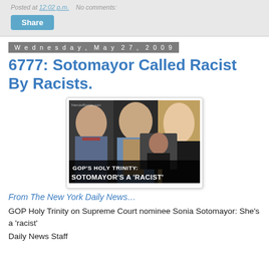Posted at 12:02 p.m.   No comments:
Share
Wednesday, May 27, 2009
6777: Sotomayor Called Racist By Racists.
[Figure (photo): Composite news image showing three people (Newt Gingrich, Rush Limbaugh, Ann Coulter) with Sonia Sotomayor inset, captioned 'GOP'S HOLY TRINITY: SOTOMAYOR'S A ‘RACIST’']
From The New York Daily News…
GOP Holy Trinity on Supreme Court nominee Sonia Sotomayor: She’s a ‘racist’
Daily News Staff